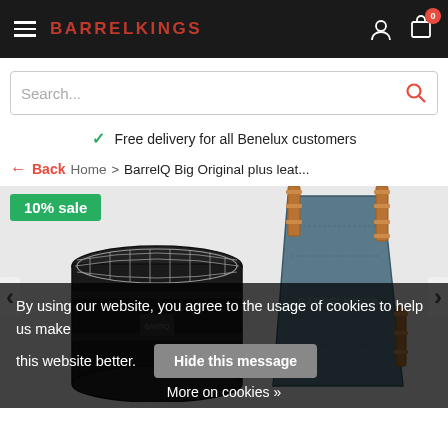BARRELKINGS
Search...
Free delivery for all Benelux customers
← Back  Home > BarrelQ Big Original plus leat...
[Figure (photo): Product photo showing a black barrel BBQ grill on the left and a leather apron/bag with copper buckles on the right. A green 10% sale badge is in the top-left corner.]
By using our website, you agree to the usage of cookies to help us make this website better. Hide this message More on cookies »